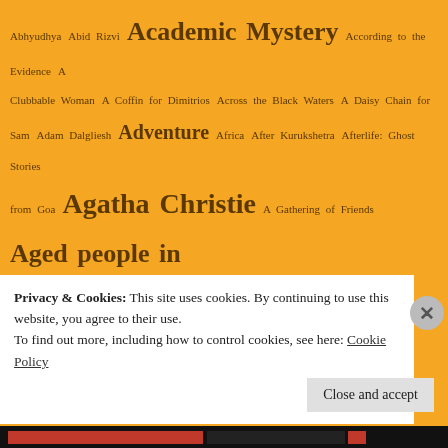Abhyudhya Abid Rizvi Academic Mystery According to the Evidence A Clubbable Woman A Coffin for Dimitrios Across the Black Waters A Daisy Chain for Sam Adam Dalgliesh Adventure Africa After Kurukshetra Afterlife: Ghost Stories from Goa Agatha Christie A Gathering of Friends Aged people in literature A History of the Indian Nationalist Movement Ajeet Cour Ajey Krantikari Rajguru Ajinkya Bhasme Akhtar Qamber al-idrisi Alan Melville Alan Paton Albert Campion Alberto Manguel Aldous Huxley Aleksander Veljanov Alexander McCall Smith Alexander O. Smith Alexander Pope Alexia Gordon Alex Tickell Alfred Draper Alice Campbell A Literary History of Greece A Little Local Murder Almond Eyes Lotus Feet Always Say Die Amar Shahid Chandrashekhar Azad Amar Shahid Sukhdev Amartya Sen Amen: The Autobiography of a Nun American
Privacy & Cookies: This site uses cookies. By continuing to use this website, you agree to their use. To find out more, including how to control cookies, see here: Cookie Policy
Close and accept